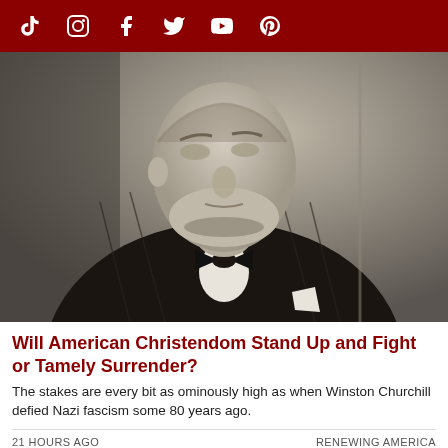Social media icon navigation bar (TikTok, Instagram, Facebook, Twitter, YouTube, Pinterest)
[Figure (photo): Black and white photograph of Winston Churchill in a pinstripe suit and bow tie, standing against a wall, looking stern]
Will American Christendom Stand Up and Fight or Tamely Surrender?
The stakes are every bit as ominously high as when Winston Churchill defied Nazi fascism some 80 years ago.
21 HOURS AGO
RENEWING AMERICA
[Figure (photo): Advertisement for Jewish Voice showing people and text 'WHO ARE THE "LOST TRIBES"']